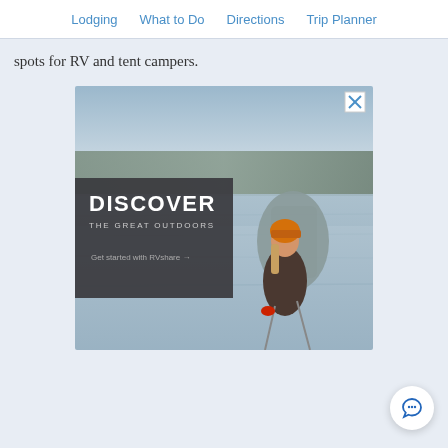Lodging  What to Do  Directions  Trip Planner
spots for RV and tent campers.
[Figure (photo): Advertisement for RVshare showing a hiker with a backpack and orange beanie standing near a lake, with text overlay: DISCOVER THE GREAT OUTDOORS - Get started with RVshare. There is a close (X) button in the top right corner.]